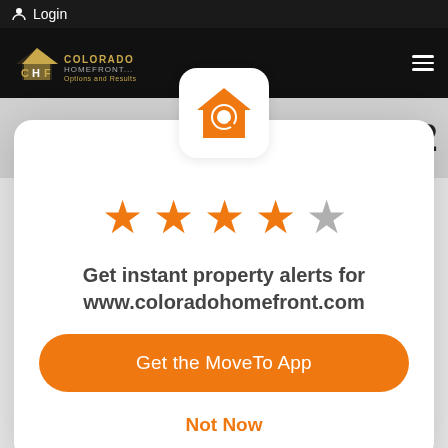Login
[Figure (logo): Colorado Homefront logo with house icon, gold and white text on black background]
Post archive for April 2022
[Figure (illustration): Orange house with magnifying glass icon in white rounded square box]
[Figure (other): 4 out of 5 orange star rating]
Get instant property alerts for www.coloradohomefront.com
Get the MoveTo App
Not Now